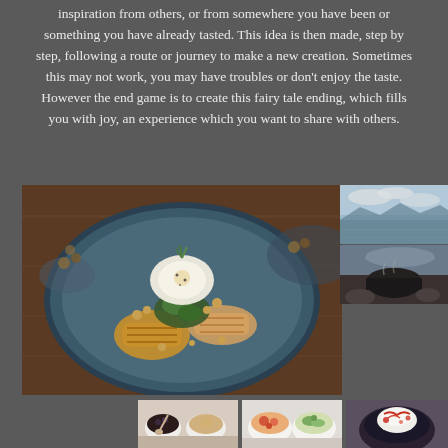inspiration from others, or from somewhere you have been or something you have already tasted. This idea is then made, step by step, following a route or journey to make a new creation. Sometimes this may not work, you may have troubles or don't enjoy the taste. However the end game is to create this fairy tale ending, which fills you with joy, an experience which you want to share with others.
[Figure (photo): A gourmet dish on a dark blue plate on a wooden table — grilled halloumi, poached egg with herb garnish, chickpeas and greens]
[Figure (photo): Lake and sky landscape with cloudy sky and mountains in background]
[Figure (photo): Dark food item on rocks or dark surface outdoors]
[Figure (photo): Three small bowls with various ingredients, one with a spoon]
[Figure (photo): Two bowls with food items including what appears to be a salad or grain dish]
[Figure (photo): A dark bowl with a white cream or egg topping with red sauce drizzle]